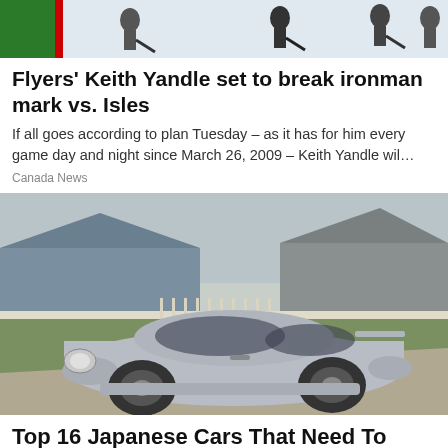[Figure (photo): Hockey players on ice rink, partial view at top of page]
Flyers' Keith Yandle set to break ironman mark vs. Isles
If all goes according to plan Tuesday – as it has for him every game day and night since March 26, 2009 – Keith Yandle wil…
Canada News
[Figure (photo): Silver Acura Integra coupe parked on a residential street with houses and fence in background]
Top 16 Japanese Cars That Need To Make A